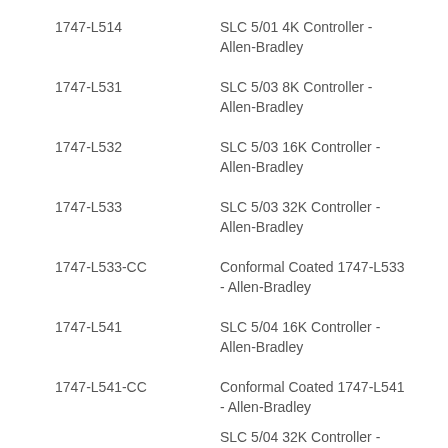1747-L514 — SLC 5/01 4K Controller - Allen-Bradley
1747-L531 — SLC 5/03 8K Controller - Allen-Bradley
1747-L532 — SLC 5/03 16K Controller - Allen-Bradley
1747-L533 — SLC 5/03 32K Controller - Allen-Bradley
1747-L533-CC — Conformal Coated 1747-L533 - Allen-Bradley
1747-L541 — SLC 5/04 16K Controller - Allen-Bradley
1747-L541-CC — Conformal Coated 1747-L541 - Allen-Bradley
SLC 5/04 32K Controller -